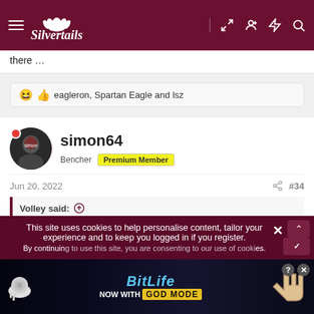Silvertails - forum navigation header
there ...
😆 👍 eagleron, Spartan Eagle and lsz
simon64
Bencher Premium Member
Jun 20, 2022  #34
Volley said: ↑
Don't turn this into a private school v public school funding debate.
This site uses cookies to help personalise content, tailor your experience and to keep you logged in if you register. By continuing to use this site, you are consenting to our use of cookies.
[Figure (advertisement): BitLife - Now with GOD MODE advertisement banner]